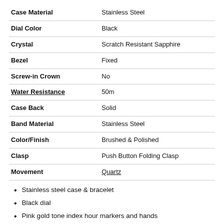| Attribute | Value |
| --- | --- |
| Case Material | Stainless Steel |
| Dial Color | Black |
| Crystal | Scratch Resistant Sapphire |
| Bezel | Fixed |
| Screw-in Crown | No |
| Water Resistance | 50m |
| Case Back | Solid |
| Band Material | Stainless Steel |
| Color/Finish | Brushed & Polished |
| Clasp | Push Button Folding Clasp |
| Movement | Quartz |
Stainless steel case & bracelet
Black dial
Pink gold tone index hour markers and hands
Displays Date Window at 3 o'clock.